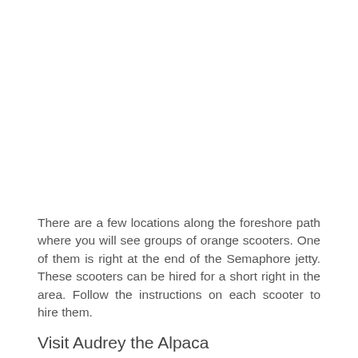There are a few locations along the foreshore path where you will see groups of orange scooters. One of them is right at the end of the Semaphore jetty. These scooters can be hired for a short right in the area. Follow the instructions on each scooter to hire them.
Visit Audrey the Alpaca